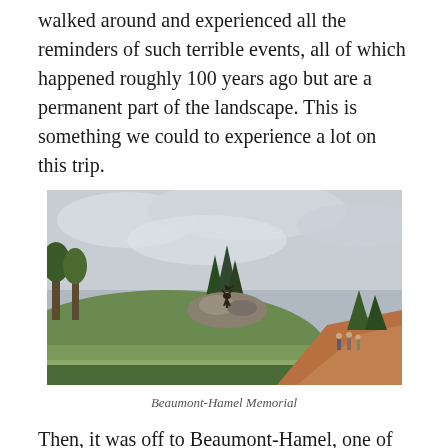walked around and experienced all the reminders of such terrible events, all of which happened roughly 100 years ago but are a permanent part of the landscape. This is something we could to experience a lot on this trip.
[Figure (photo): Outdoor landscape photo showing the Beaumont-Hamel Memorial site with green grassy hills, trees, a caribou statue on a rocky mound, and visitors walking along a reddish gravel path under a cloudy sky.]
Beaumont-Hamel Memorial
Then, it was off to Beaumont-Hamel, one of the